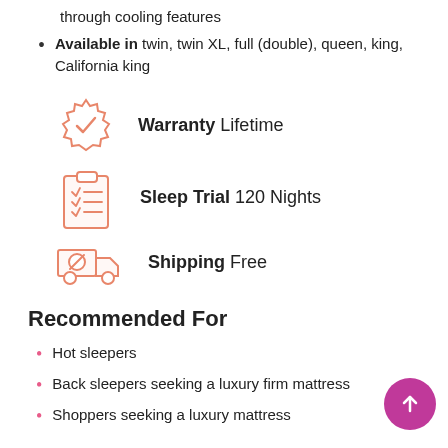through cooling features
Available in twin, twin XL, full (double), queen, king, California king
[Figure (infographic): Orange badge/seal icon with checkmark for Warranty]
Warranty Lifetime
[Figure (infographic): Orange clipboard checklist icon for Sleep Trial]
Sleep Trial 120 Nights
[Figure (infographic): Orange delivery truck with free tag icon for Shipping]
Shipping Free
Recommended For
Hot sleepers
Back sleepers seeking a luxury firm mattress
Shoppers seeking a luxury mattress